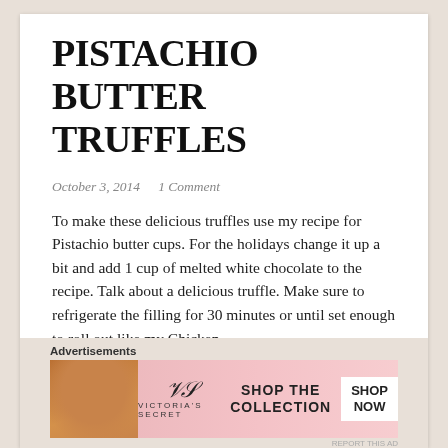PISTACHIO BUTTER TRUFFLES
October 3, 2014   1 Comment
To make these delicious truffles use my recipe for Pistachio butter cups.  For the holidays change it up a bit and add 1 cup of melted white chocolate to the recipe.  Talk about a delicious truffle. Make sure to refrigerate the filling for 30 minutes or until set enough to roll out like my Chicken ….
Continue reading
Advertisements
[Figure (advertisement): Victoria's Secret advertisement banner with pink background, model's face, VS logo, 'SHOP THE COLLECTION' text, and 'SHOP NOW' button]